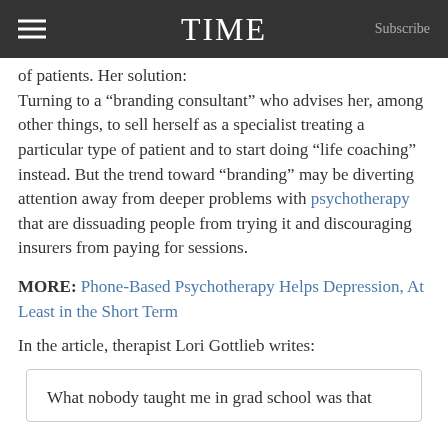TIME
of patients. Her solution:
Turning to a “branding consultant” who advises her, among other things, to sell herself as a specialist treating a particular type of patient and to start doing “life coaching” instead. But the trend toward “branding” may be diverting attention away from deeper problems with psychotherapy that are dissuading people from trying it and discouraging insurers from paying for sessions.
MORE: Phone-Based Psychotherapy Helps Depression, At Least in the Short Term
In the article, therapist Lori Gottlieb writes:
What nobody taught me in grad school was that